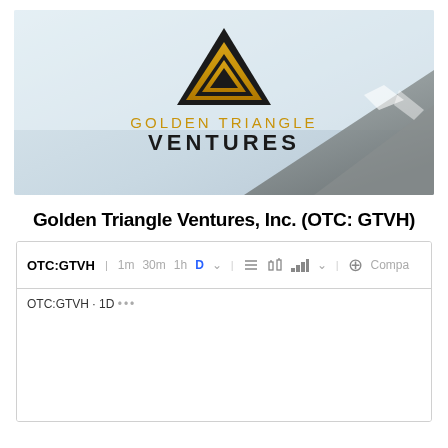[Figure (logo): Golden Triangle Ventures company logo banner — mountain/triangle logo in black and gold above text 'GOLDEN TRIANGLE VENTURES' on a misty mountain background]
Golden Triangle Ventures, Inc. (OTC: GTVH)
[Figure (screenshot): TradingView stock chart widget for OTC:GTVH showing toolbar with time intervals 1m, 30m, 1h, D and chart type controls, with label OTC:GTVH · 1D]